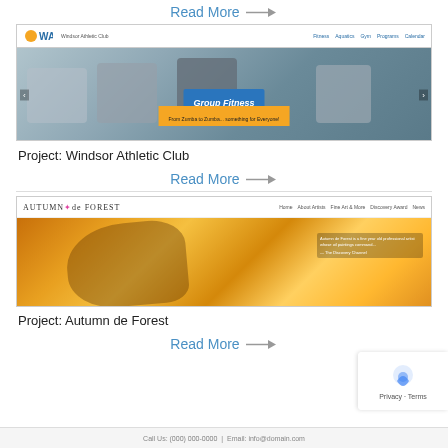Read More →
[Figure (screenshot): Screenshot of Windsor Athletic Club website showing group fitness cycling class with 'Group Fitness' text overlay]
Project: Windsor Athletic Club
Read More →
[Figure (screenshot): Screenshot of Autumn de Forest website showing a young girl painting with warm amber tones]
Project: Autumn de Forest
Read More →
Call Us: (000) 000-0000 | Email: info@domain.com